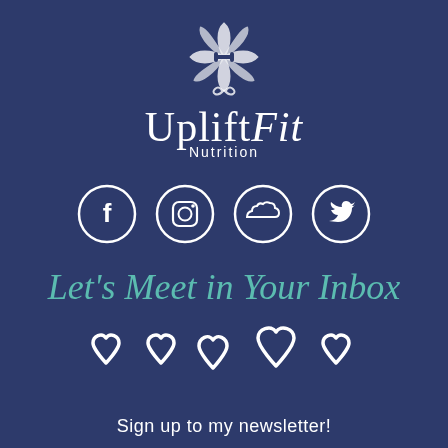[Figure (logo): UpliftFit Nutrition logo: decorative flower/mandala icon above the brand name 'UpliftFit Nutrition' in white text on navy background]
[Figure (infographic): Four white circle social media icons in a row: Facebook (f), Instagram (camera), SoundCloud (cloud), Twitter (bird)]
Let's Meet in Your Inbox
[Figure (illustration): Four white outlined heart shapes in a row]
Sign up to my newsletter!